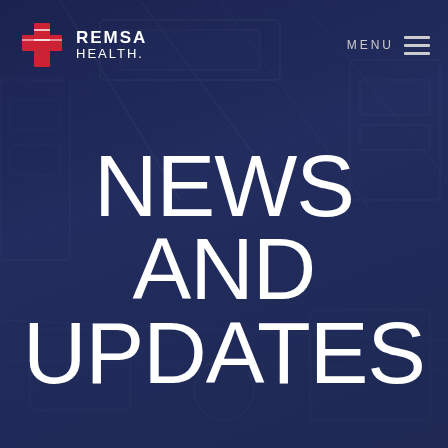[Figure (logo): REMSA Health logo with red cross icon on left, text REMSA in bold white uppercase and HEALTH in lighter white uppercase letters]
MENU
NEWS AND UPDATES